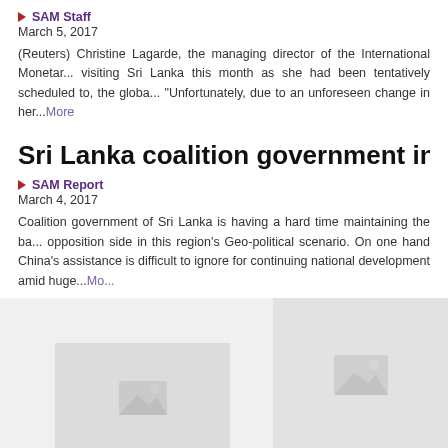▶ SAM Staff
March 5, 2017
(Reuters) Christine Lagarde, the managing director of the International Monetary... visiting Sri Lanka this month as she had been tentatively scheduled to, the globa... "Unfortunately, due to an unforeseen change in her...More
Sri Lanka coalition government in a rock and har...
▶ SAM Report
March 4, 2017
Coalition government of Sri Lanka is having a hard time maintaining the ba... opposition side in this region's Geo-political scenario. On one hand China's... assistance is difficult to ignore for continuing national development amid huge...Mo...
[Figure (photo): Placeholder image area at bottom of page with two image thumbnails]